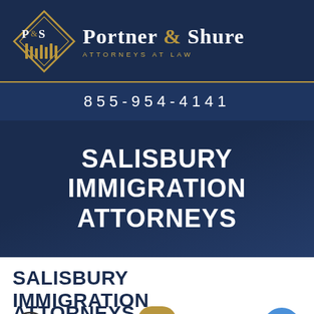[Figure (logo): Portner & Shure Attorneys at Law logo with P&S diamond emblem]
855-954-4141
SALISBURY IMMIGRATION ATTORNEYS
SALISBURY IMMIGRATION ATTORNEYS
BECOMING A UNITED STATES